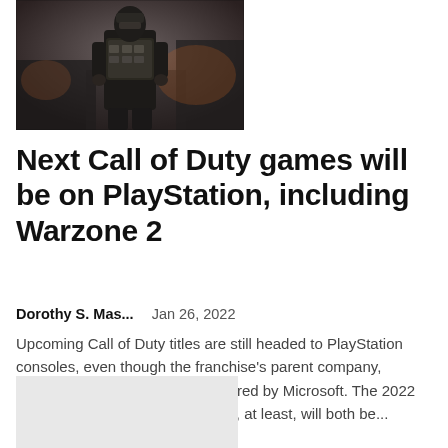[Figure (photo): A soldier character in tactical military gear, dark jacket and vest with equipment, standing in a dimly lit industrial environment — Call of Duty game art]
Next Call of Duty games will be on PlayStation, including Warzone 2
Dorothy S. Mas...    Jan 26, 2022
Upcoming Call of Duty titles are still headed to PlayStation consoles, even though the franchise's parent company, Activision Blizzard, is being acquired by Microsoft. The 2022 and 2023 versions of Call of Duty, at least, will both be...
[Figure (photo): Partially visible second article image, light gray placeholder]